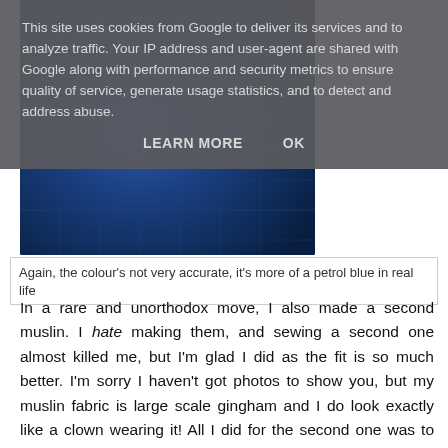This site uses cookies from Google to deliver its services and to analyze traffic. Your IP address and user-agent are shared with Google along with performance and security metrics to ensure quality of service, generate usage statistics, and to detect and address abuse.
LEARN MORE    OK
[Figure (photo): Close-up photograph of blue textured fabric, described as petrol blue in real life]
Again, the colour's not very accurate, it's more of a petrol blue in real life
In a rare and unorthodox move, I also made a second muslin. I hate making them, and sewing a second one almost killed me, but I'm glad I did as the fit is so much better. I'm sorry I haven't got photos to show you, but my muslin fabric is large scale gingham and I do look exactly like a clown wearing it! All I did for the second one was to scale down to a size 38 everywhere apart from the bust, and shape the waist in slightly.
In order to see what other bloggers had done re the button